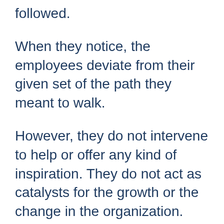followed.
When they notice, the employees deviate from their given set of the path they meant to walk.
However, they do not intervene to help or offer any kind of inspiration. They do not act as catalysts for the growth or the change in the organization.